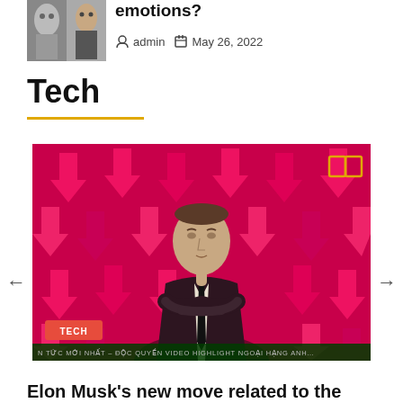[Figure (photo): Thumbnail image of robots/AI figures, black and white]
emotions?
admin   May 26, 2022
Tech
[Figure (photo): Elon Musk standing in front of a red background with pink downward arrows. A book icon is in the top right corner. A TECH badge is in the lower left. A dark green ticker bar at the bottom reads partial Vietnamese text about highlight videos.]
TECH
N TỨC MỚI NHẤT – ĐỘC QUYỀN VIDEO HIGHLIGHT NGOẠI HẠNG ANH…
Elon Musk's new move related to the